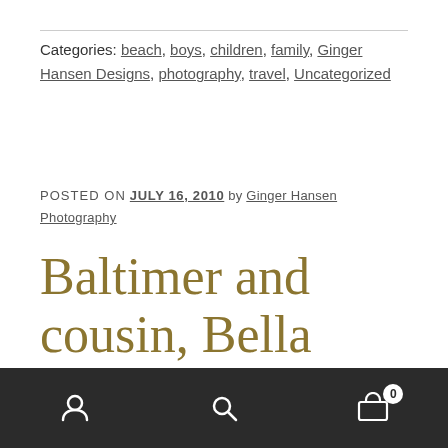Categories: beach, boys, children, family, Ginger Hansen Designs, photography, travel, Uncategorized
POSTED ON JULY 16, 2010 by Ginger Hansen Photography
Baltimer and cousin, Bella (pt.1)
This summer we made a weekend trip to visit my family in
navigation icons: user, search, cart (0)